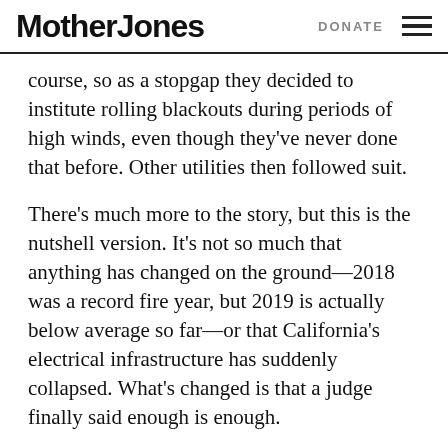Mother Jones   DONATE
course, so as a stopgap they decided to institute rolling blackouts during periods of high winds, even though they've never done that before. Other utilities then followed suit.
There's much more to the story, but this is the nutshell version. It's not so much that anything has changed on the ground—2018 was a record fire year, but 2019 is actually below average so far—or that California's electrical infrastructure has suddenly collapsed. What's changed is that a judge finally said enough is enough.
FACT: